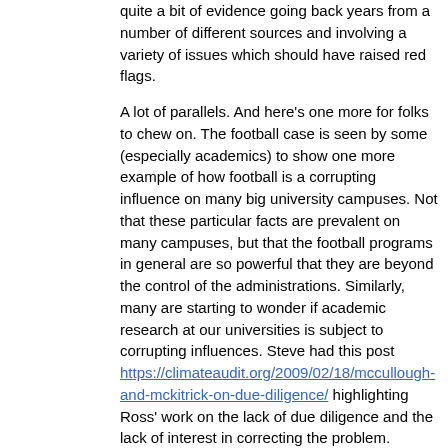quite a bit of evidence going back years from a number of different sources and involving a variety of issues which should have raised red flags.

A lot of parallels. And here's one more for folks to chew on. The football case is seen by some (especially academics) to show one more example of how football is a corrupting influence on many big university campuses. Not that these particular facts are prevalent on many campuses, but that the football programs in general are so powerful that they are beyond the control of the administrations. Similarly, many are starting to wonder if academic research at our universities is subject to corrupting influences. Steve had this post https://climateaudit.org/2009/02/18/mccullough-and-mckitrick-on-due-diligence/ highlighting Ross' work on the lack of due diligence and the lack of interest in correcting the problem. People can make the argument that both of these cases highlight broader concerns that affect many universities and the potential for problems.
Speed on Nov 12, 2011 at 6:53 AM